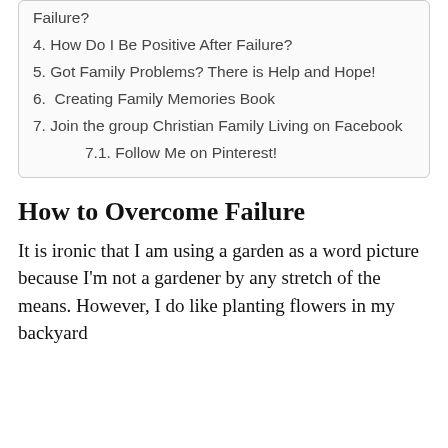Failure?
4. How Do I Be Positive After Failure?
5. Got Family Problems? There is Help and Hope!
6.  Creating Family Memories Book
7. Join the group Christian Family Living on Facebook
7.1. Follow Me on Pinterest!
How to Overcome Failure
It is ironic that I am using a garden as a word picture because I'm not a gardener by any stretch of the means. However, I do like planting flowers in my backyard